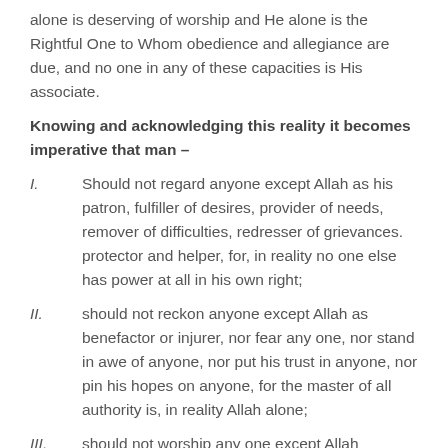alone is deserving of worship and He alone is the Rightful One to Whom obedience and allegiance are due, and no one in any of these capacities is His associate.
Knowing and acknowledging this reality it becomes imperative that man –
I. Should not regard anyone except Allah as his patron, fulfiller of desires, provider of needs, remover of difficulties, redresser of grievances. protector and helper, for, in reality no one else has power at all in his own right;
II. should not reckon anyone except Allah as benefactor or injurer, nor fear any one, nor stand in awe of anyone, nor put his trust in anyone, nor pin his hopes on anyone, for the master of all authority is, in reality Allah alone;
III. should not worship any one except Allah